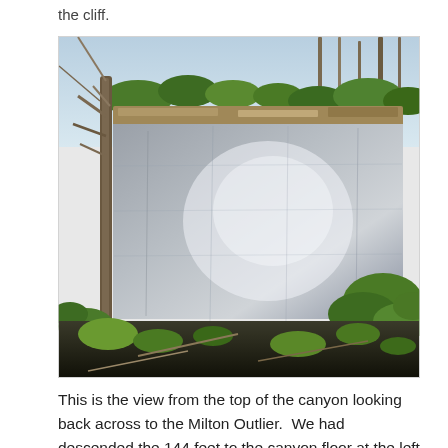the cliff.
[Figure (photo): Outdoor photograph showing a limestone cliff face (the Milton Outlier) with mossy rocks, bare trees, and a white/grey limestone wall visible in a forested canyon setting.]
This is the view from the top of the canyon looking back across to the Milton Outlier.  We had descended the 144 feet to the canyon floor at the left end of the white limestone